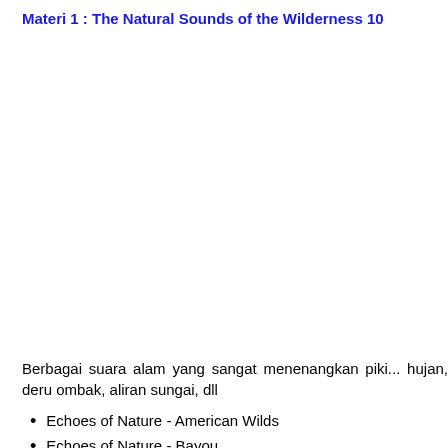Materi 1 : The Natural Sounds of the Wilderness 10
Berbagai suara alam yang sangat menenangkan piki... hujan, deru ombak, aliran sungai, dll
Echoes of Nature - American Wilds
Echoes of Nature - Bayou